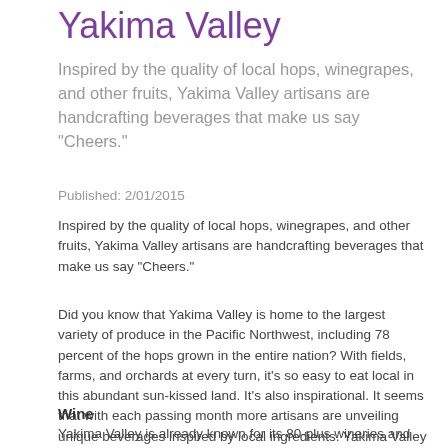Yakima Valley
Inspired by the quality of local hops, winegrapes, and other fruits, Yakima Valley artisans are handcrafting beverages that make us say "Cheers."
Published: 2/01/2015
Inspired by the quality of local hops, winegrapes, and other fruits, Yakima Valley artisans are handcrafting beverages that make us say "Cheers."
Did you know that Yakima Valley is home to the largest variety of produce in the Pacific Northwest, including 78 percent of the hops grown in the entire nation? With fields, farms, and orchards at every turn, it’s so easy to eat local in this abundant sun-kissed land. It’s also inspirational. It seems that with each passing month more artisans are unveiling unique beverages inspired by local ingredients. Yakima Valley is fast becoming the craft beverage center of the Pacific Northwest.
Wine
Yakima Valley is already known for its 80-plus wineries and 13,000 acres of vineyards. Established in 1983, it’s the state of Washington’s oldest appellation and produces roughly one-third of